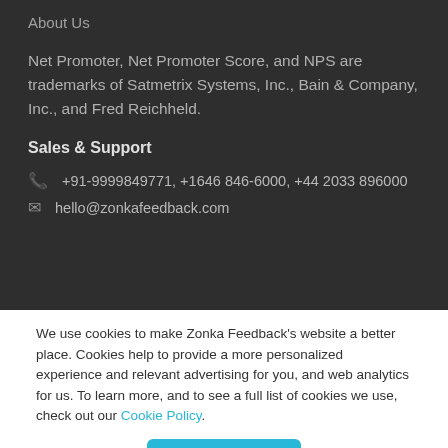About Us
Net Promoter, Net Promoter Score, and NPS are trademarks of Satmetrix Systems, Inc., Bain & Company, Inc., and Fred Reichheld.
Sales & Support
+91-9999849771, +1646 846-6000, +44 2033 896000
hello@zonkafeedback.com
We use cookies to make Zonka Feedback's website a better place. Cookies help to provide a more personalized experience and relevant advertising for you, and web analytics for us. To learn more, and to see a full list of cookies we use, check out our Cookie Policy.
Accept